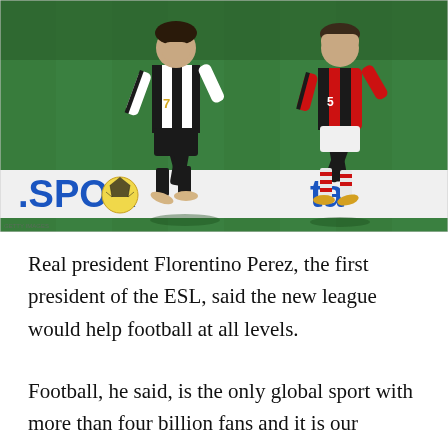[Figure (photo): Two soccer players in action on a green pitch. Left player wearing black and white striped Juventus jersey (number 7), right player wearing red and black AC Milan kit (number 5). A soccer ball is visible lower left. Advertising board reading '.SPOR' and 'ta' visible in background.]
Real president Florentino Perez, the first president of the ESL, said the new league would help football at all levels.
Football, he said, is the only global sport with more than four billion fans and it is our responsibility as big clubs to respond to their